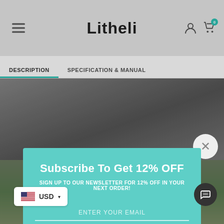[Figure (screenshot): Litheli brand website screenshot showing navigation bar with hamburger menu, Litheli logo, user icon, and cart icon with badge showing 0]
Litheli
DESCRIPTION
SPECIFICATION & MANUAL
Subscribe To Get 12% OFF
SIGN UP TO OUR NEWSLETTER FOR 12% OFF IN YOUR NEXT ORDER!
ENTER YOUR EMAIL
SUBSCRIBE NOW
USD